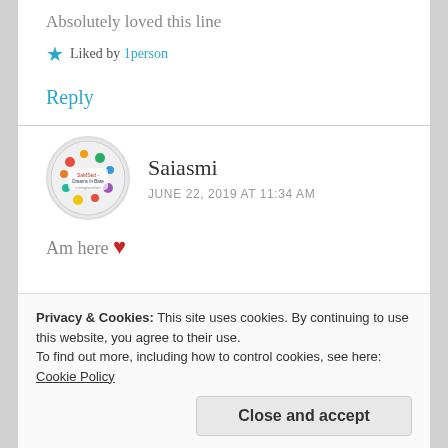Absolutely loved this line
★ Liked by 1person
Reply
Saiasmi
JUNE 22, 2019 AT 11:34 AM
Am here ❤
Privacy & Cookies: This site uses cookies. By continuing to use this website, you agree to their use. To find out more, including how to control cookies, see here: Cookie Policy
Close and accept
Saiasmi